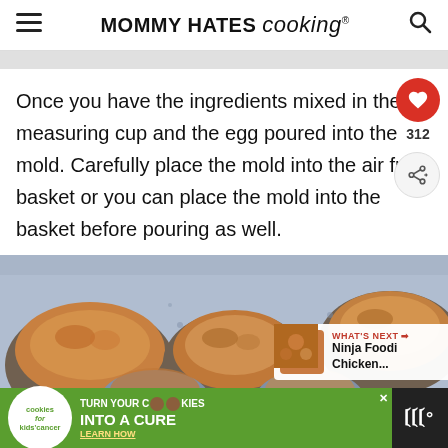MOMMY HATES cooking®
Once you have the ingredients mixed in the measuring cup and the egg poured into the mold. Carefully place the mold into the air fryer basket or you can place the mold into the basket before pouring as well.
[Figure (photo): Photo of egg bites or mini frittatas cooking in a silicone muffin mold, showing golden-brown tops, placed inside an air fryer basket.]
[Figure (infographic): WHAT'S NEXT overlay showing thumbnail and text: Ninja Foodi Chicken...]
[Figure (infographic): Advertisement banner: cookies for kids cancer - turn your COOKIES into a CURE LEARN HOW]